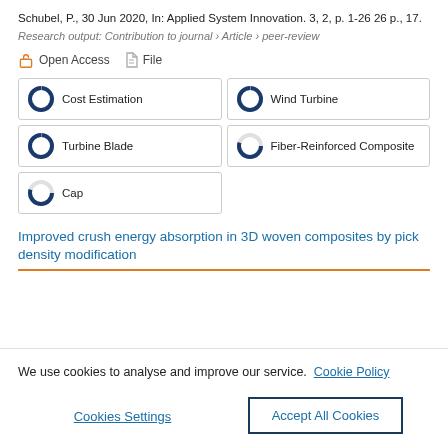Schubel, P., 30 Jun 2020, In: Applied System Innovation. 3, 2, p. 1-26 26 p., 17.
Research output: Contribution to journal › Article › peer-review
Open Access   File
Cost Estimation
Wind Turbine
Turbine Blade
Fiber-Reinforced Composite
Cap
Improved crush energy absorption in 3D woven composites by pick density modification
We use cookies to analyse and improve our service. Cookie Policy
Cookies Settings
Accept All Cookies